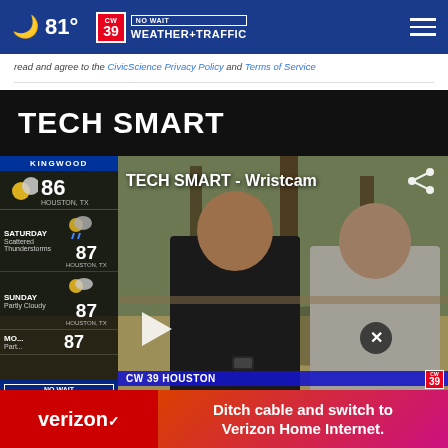81° | CW39 NO WAIT WEATHER+TRAFFIC
read and agree to the CivicScience Privacy Policy and Terms of Service
TECH SMART
[Figure (screenshot): Video thumbnail showing two men outdoors examining a smartwatch (Wristcam). Overlay shows weather sidebar on the left with temperatures for Kingwood area (86°, 87° Saturday, 87° Sunday). Video title reads TECH SMART - Wristcam. Bottom shows CW39 Houston lower-third. A Verizon ad banner appears at the bottom reading 'Ditch cable and switch to Verizon Home Internet.']
TECH SMART - Wristcam